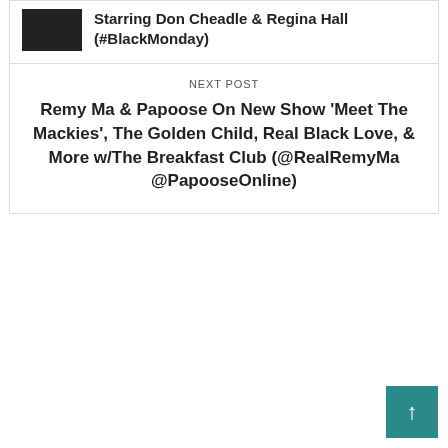[Figure (photo): Small dark thumbnail image]
Starring Don Cheadle & Regina Hall (#BlackMonday)
NEXT POST
Remy Ma & Papoose On New Show ‘Meet The Mackies’, The Golden Child, Real Black Love, & More w/The Breakfast Club (@RealRemyMa @PapooseOnline)
[Figure (illustration): Teal back-to-top button with upward arrow]